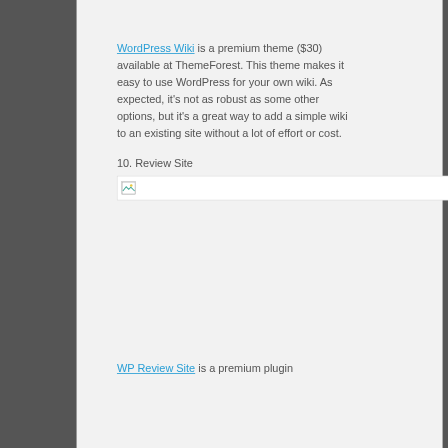WordPress Wiki is a premium theme ($30) available at ThemeForest. This theme makes it easy to use WordPress for your own wiki. As expected, it's not as robust as some other options, but it's a great way to add a simple wiki to an existing site without a lot of effort or cost.
10. Review Site
[Figure (photo): Broken/loading image placeholder icon]
WP Review Site is a premium plugin